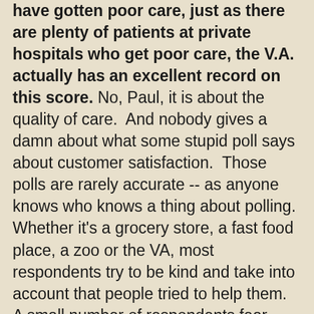have gotten poor care, just as there are plenty of patients at private hospitals who get poor care, the V.A. actually has an excellent record on this score. No, Paul, it is about the quality of care.  And nobody gives a damn about what some stupid poll says about customer satisfaction.  Those polls are rarely accurate -- as anyone knows who knows a thing about polling.  Whether it's a grocery store, a fast food place, a zoo or the VA, most respondents try to be kind and take into account that people tried to help them.  A small number of respondents fear their responses will come back to haunt them (they don't trust that the feedback will be anonymous).  There are many issues at play here but no one ever believes -- except the uninformed -- a customer satisfaction survey really conveys customer satisfaction. Barry Coates is a victim of the current scandal